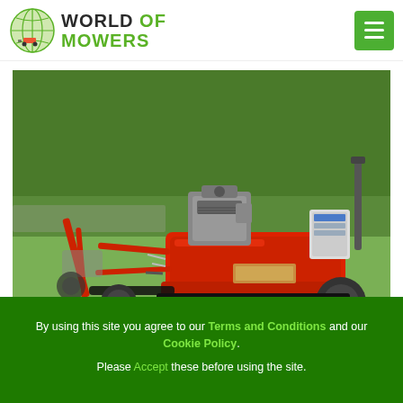World of Mowers — logo and navigation header
[Figure (photo): A red flail mower / mulcher machine with a petrol engine, mounted on a frame with wheels and a 3-point hitch linkage, photographed outdoors on grass next to a green leafy field]
By using this site you agree to our Terms and Conditions and our Cookie Policy. Please Accept these before using the site.